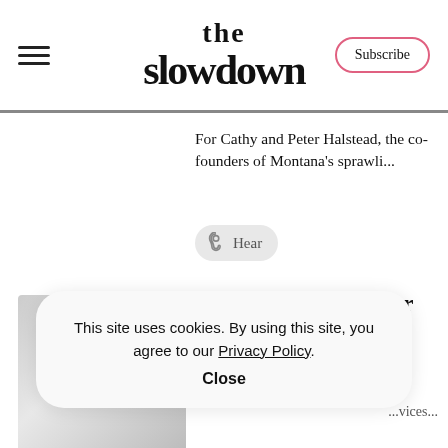the slowdown | Subscribe
For Cathy and Peter Halstead, the co-founders of Montana's sprawli...
[Figure (infographic): Hear pill button with ear icon and text 'Hear']
[Figure (photo): Blurred/gradient grey square image placeholder for article]
This Discreet Speaker Combines Mood-Enhancing Lighting With
...vices...
This site uses cookies. By using this site, you agree to our Privacy Policy. Close